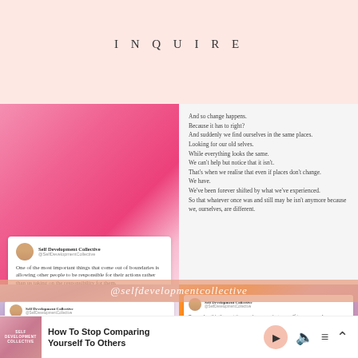INQUIRE
[Figure (screenshot): Instagram post on pink floral background: Self Development Collective quote about boundaries and responsibility]
[Figure (screenshot): Poem text on light background about change: 'And so change happens. Because it has to right? And suddenly we find ourselves in the same places. Looking for our old selves. While everything looks the same. We can't help but notice that it isn't. That's when we realise that even if places don't change. We have. We've been forever shifted by what we've experienced. So that whatever once was and still may be isn't anymore because we, ourselves, are different.']
[Figure (screenshot): Overlay banner with @selfdevelopmentcollective in italic white text on peach/salmon background]
[Figure (screenshot): Instagram post on pink magnolia floral background: Self Development Collective quote - The only behaviour we can be responsible for is our own.]
[Figure (screenshot): Instagram post on orange tulips and purple flowers background: Self Development Collective quote - Remember this the next time you're comparing yourself to someone else: everybody looks different.]
How To Stop Comparing Yourself To Others